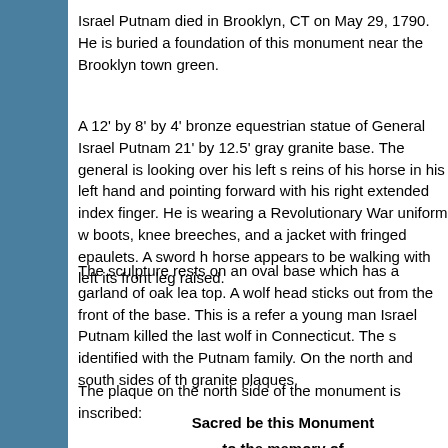Israel Putnam died in Brooklyn, CT on May 29, 1790. He is buried a foundation of this monument near the Brooklyn town green.
A 12' by 8' by 4' bronze equestrian statue of General Israel Putnam 21' by 12.5' gray granite base. The general is looking over his left s reins of his horse in his left hand and pointing forward with his right extended index finger. He is wearing a Revolutionary War uniform w boots, knee breeches, and a jacket with fringed epaulets. A sword h horse appears to be walking with left its front leg raised.
The sculpture rests on an oval base which has a garland of oak lea top. A wolf head sticks out from the front of the base. This is a refer a young man Israel Putnam killed the last wolf in Connecticut. The s identified with the Putnam family. On the north and south sides of th granite plaques.
The plaque on the north side of the monument is inscribed:
Sacred be this Monument
to the memory of
ISRAEL PUTNAM, Esq.
Senior Major General in the Armies